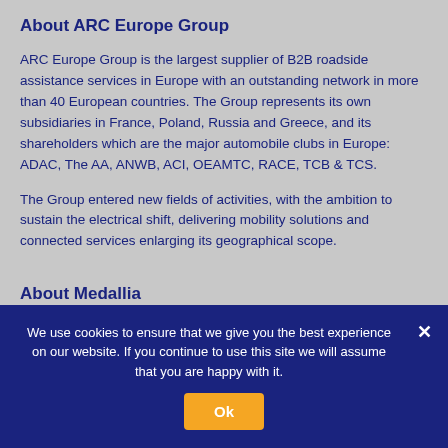About ARC Europe Group
ARC Europe Group is the largest supplier of B2B roadside assistance services in Europe with an outstanding network in more than 40 European countries. The Group represents its own subsidiaries in France, Poland, Russia and Greece, and its shareholders which are the major automobile clubs in Europe: ADAC, The AA, ANWB, ACI, OEAMTC, RACE, TCB & TCS.
The Group entered new fields of activities, with the ambition to sustain the electrical shift, delivering mobility solutions and connected services enlarging its geographical scope.
About Medallia
We use cookies to ensure that we give you the best experience on our website. If you continue to use this site we will assume that you are happy with it.